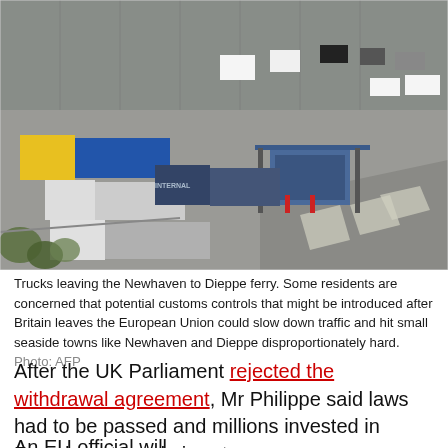[Figure (photo): Aerial view of trucks leaving the Newhaven to Dieppe ferry terminal, showing large lorries queuing at a checkpoint/toll booth area with a blue-roofed structure, surrounded by a large car park.]
Trucks leaving the Newhaven to Dieppe ferry. Some residents are concerned that potential customs controls that might be introduced after Britain leaves the European Union could slow down traffic and hit small seaside towns like Newhaven and Dieppe disproportionately hard. Photo: AFP
After the UK Parliament rejected the withdrawal agreement, Mr Philippe said laws had to be passed and millions invested in French ports and airports.
An EU official will...